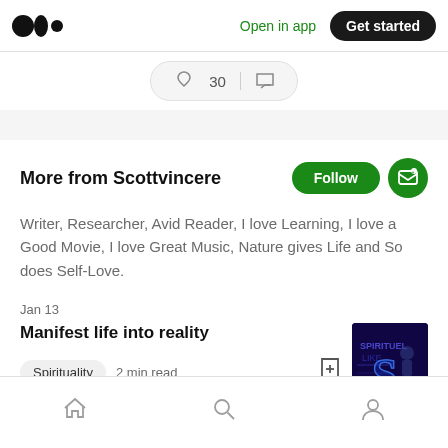[Figure (logo): Medium logo (three dots/circles)]
Open in app
Get started
[Figure (other): Partial reaction bar showing clap icon with 30 and comment icon]
More from Scottvincere
Follow
[Figure (other): Subscribe/email button icon]
Writer, Researcher, Avid Reader, I love Learning, I love a Good Movie, I love Great Music, Nature gives Life and So does Self-Love.
Jan 13
Manifest life into reality
[Figure (photo): Dark blue/purple neon glowing digital letters thumbnail image]
Spirituality
2 min read
[Figure (other): Bookmark icon with plus sign]
Home | Search | Profile navigation icons